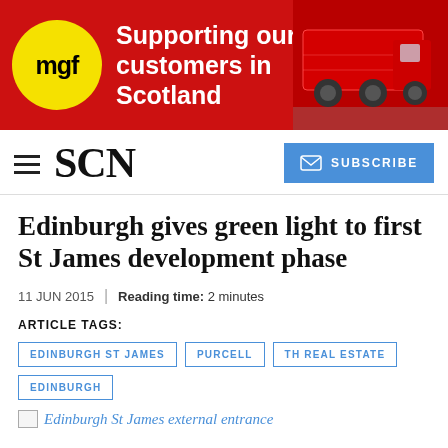[Figure (illustration): MGF advertisement banner — red background, yellow circular MGF logo on left, white bold text 'Supporting our customers in Scotland', red truck/lorry image on right side]
SCN | SUBSCRIBE
Edinburgh gives green light to first St James development phase
11 JUN 2015 | Reading time: 2 minutes
ARTICLE TAGS:
EDINBURGH ST JAMES
PURCELL
TH REAL ESTATE
EDINBURGH
Edinburgh St James external entrance